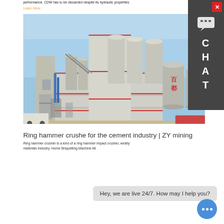performance. CDW has to be discarded despite its hydraulic properties
Learn More
[Figure (photo): Industrial factory building with large cylindrical metal silos and storage tanks under a blue sky. The building has grey walls with red trim and Chinese characters visible on the silos.]
Ring hammer crushe for the cement industry | ZY mining
Ring hammer crusher is a kind of a ring hammer impact crusher, widely materials industry. Home Briquetting Machine All